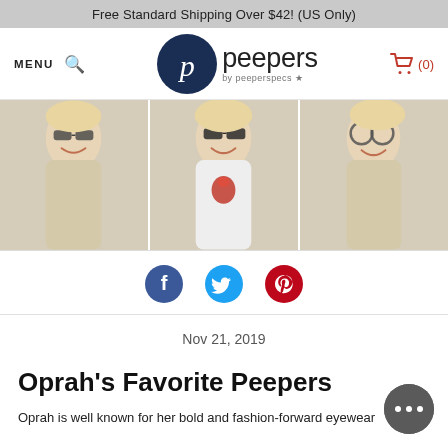Free Standard Shipping Over $42! (US Only)
[Figure (logo): Peepers by peeperspecs logo with navy circle P icon and wordmark]
[Figure (photo): Three panel hero image of a smiling blonde woman wearing large decorative eyeglasses in different poses against a beige background]
[Figure (infographic): Social share buttons: Facebook (blue), Twitter (light blue), Pinterest (red)]
Nov 21, 2019
Oprah's Favorite Peepers
Oprah is well known for her bold and fashion-forward eyewear